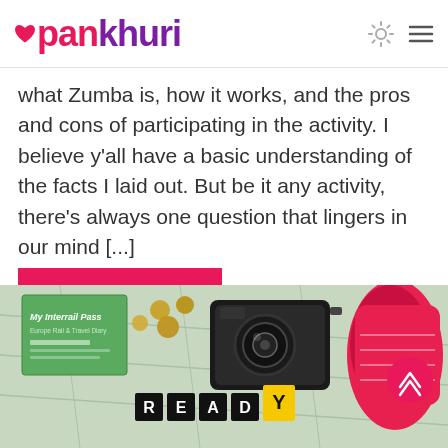pankhuri
what Zumba is, how it works, and the pros and cons of participating in the activity. I believe y'all have a basic understanding of the facts I laid out. But be it any activity, there's always one question that lingers in our mind [...]
Read More
[Figure (photo): Flat lay travel photo showing a map, Interrail Pass booklet, camera, coins, red sneakers, a lock, and letter tiles spelling READY FOR on a colorful map background.]